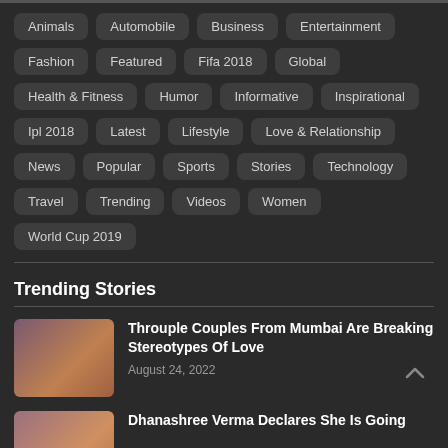Animals
Automobile
Business
Entertainment
Fashion
Featured
Fifa 2018
Global
Health & Fitness
Humor
Informative
Inspirational
Ipl 2018
Latest
Lifestyle
Love & Relationship
News
Popular
Sports
Stories
Technology
Travel
Trending
Videos
Women
World Cup 2019
Trending Stories
Throuple Couples From Mumbai Are Breaking Stereotypes Of Love
August 24, 2022
Dhanashree Verma Declares She Is Going